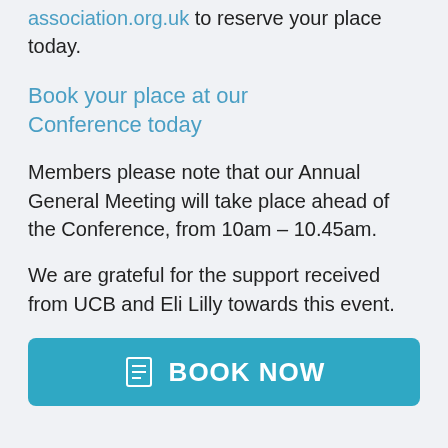association.org.uk to reserve your place today.
Book your place at our Conference today
Members please note that our Annual General Meeting will take place ahead of the Conference, from 10am – 10.45am.
We are grateful for the support received from UCB and Eli Lilly towards this event.
BOOK NOW